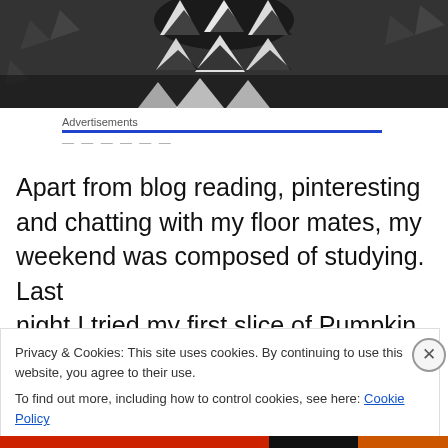[Figure (photo): Black and white close-up photo of a face or mask with dramatic patterned markings, possibly face paint or costume, dark background]
Advertisements
Apart from blog reading, pinteresting and chatting with my floor mates, my weekend was composed of studying. Last night I tried my first slice of Pumpkin pie thanks to Katie
Privacy & Cookies: This site uses cookies. By continuing to use this website, you agree to their use.
To find out more, including how to control cookies, see here: Cookie Policy
Close and accept